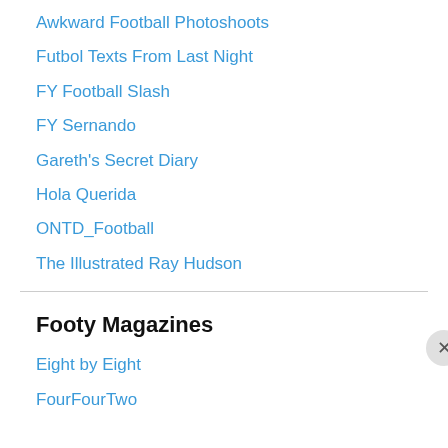Awkward Football Photoshoots
Futbol Texts From Last Night
FY Football Slash
FY Sernando
Gareth's Secret Diary
Hola Querida
ONTD_Football
The Illustrated Ray Hudson
Footy Magazines
Eight by Eight
FourFourTwo
Privacy & Cookies: This site uses cookies. By continuing to use this website, you agree to their use.
To find out more, including how to control cookies, see here: Cookie Policy
Close and accept